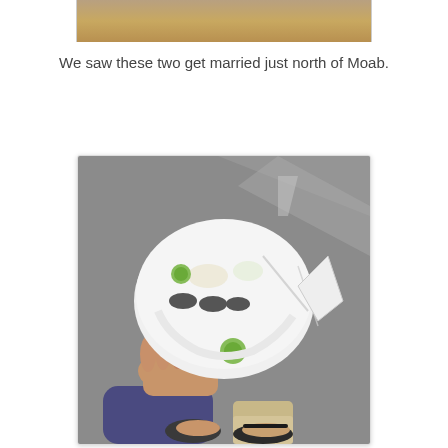[Figure (photo): Top portion of a photo showing sandy/earthy terrain, cropped at the top of the page]
We saw these two get married just north of Moab.
[Figure (photo): A person holding a cracked and damaged white cycling/bike helmet with green circular accents, photographed from above against a concrete pavement background. The person is wearing a blue long-sleeve shirt and sandals/flip-flops.]